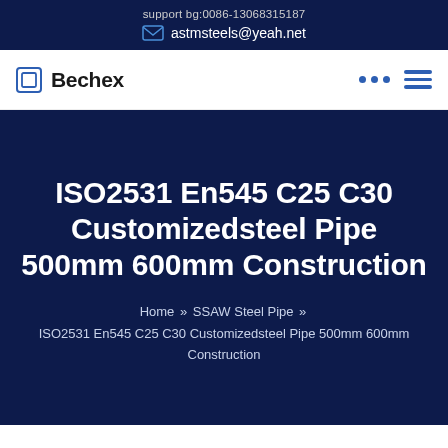support bg:0086-13068315187 | astmsteels@yeah.net
[Figure (logo): Bechex company logo with square icon and navigation icons (dots and hamburger menu)]
ISO2531 En545 C25 C30 Customizedsteel Pipe 500mm 600mm Construction
Home » SSAW Steel Pipe » ISO2531 En545 C25 C30 Customizedsteel Pipe 500mm 600mm Construction